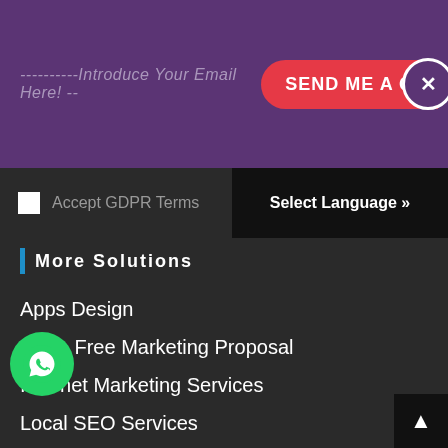[Figure (screenshot): Purple banner with email input placeholder text '----------Introduce Your Email Here! --', a red 'SEND ME A Q' button with rounded left side, and a circular close button with X]
Accept GDPR Terms
Select Language »
More Solutions
Apps Design
Get a Free Marketing Proposal
Internet Marketing Services
Local SEO Services
PPC Management
SEO Agency
SEO Services
Social Media Services
ke the Speed of Hostinger
Design Division
Web Design Services